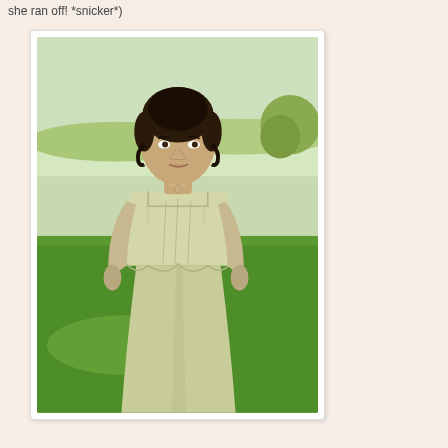she ran off! *snicker*)
[Figure (photo): A young woman with dark hair pinned up, wearing a light cream/sage 18th-century style brocade bodice and skirt, standing outdoors in a green field with trees and sky in the background. She wears a small heart-shaped necklace.]